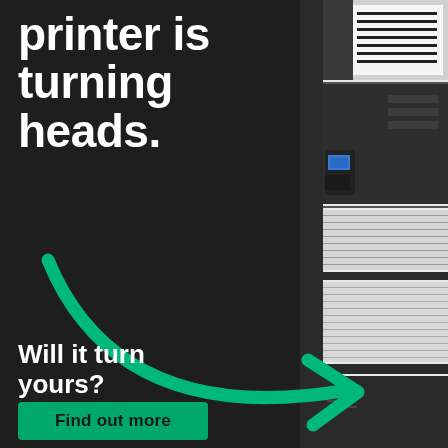printer is turning heads.
[Figure (illustration): Green curved arrow pointing right, overlaid on a dark background with a large-format printer shown on the right side of the image.]
Will it turn yours?
Find out more